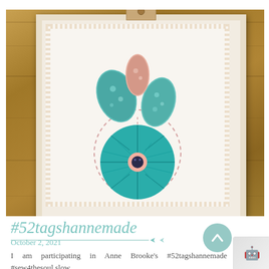[Figure (photo): A handmade fabric tag/ornament with cactus appliqué (teal and pink floral fabrics) and a teal yo-yo flower, mounted on white lace fabric with a wooden tag at top, photographed on a wood surface.]
#52tagshannemade
October 2, 2021
I am participating in Anne Brooke's #52tagshannemade #sew4thesoul slow